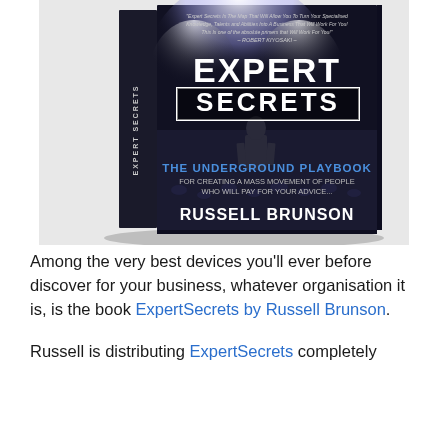[Figure (illustration): Book cover of 'Expert Secrets: The Underground Playbook for Creating a Mass Movement of People Who Will Pay for Your Advice...' by Russell Brunson. Shows a person on stage facing a large audience with spotlight effects. Dark, dramatic cover with blue accent text.]
Among the very best devices you'll ever before discover for your business, whatever organisation it is, is the book ExpertSecrets by Russell Brunson.
Russell is distributing ExpertSecrets completely